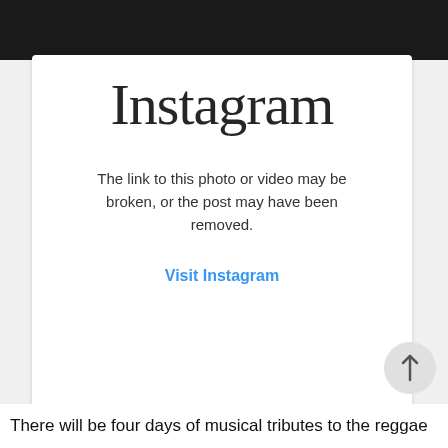[Figure (screenshot): Instagram error card showing broken link message with Instagram logo at top]
Instagram
The link to this photo or video may be broken, or the post may have been removed.
Visit Instagram
There will be four days of musical tributes to the reggae